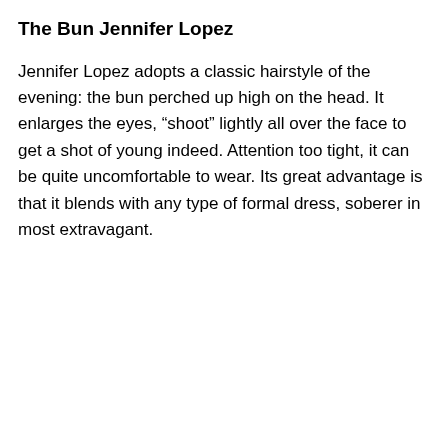The Bun Jennifer Lopez
Jennifer Lopez adopts a classic hairstyle of the evening: the bun perched up high on the head. It enlarges the eyes, “shoot” lightly all over the face to get a shot of young indeed. Attention too tight, it can be quite uncomfortable to wear. Its great advantage is that it blends with any type of formal dress, soberer in most extravagant.